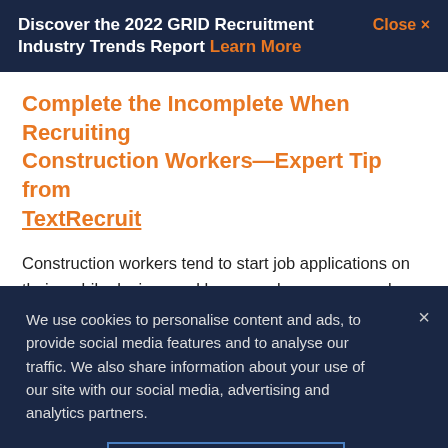Discover the 2022 GRID Recruitment Industry Trends Report Learn More  Close ×
Complete the Incomplete When Recruiting Construction Workers—Expert Tip from TextRecruit
Construction workers tend to start job applications on their mobile devices and have an above-average drop off rate. Following up on incomplete applications with
We use cookies to personalise content and ads, to provide social media features and to analyse our traffic. We also share information about your use of our site with our social media, advertising and analytics partners.
Cookies Settings